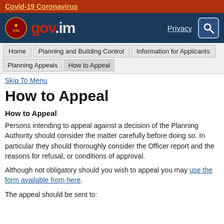Covid-19 Coronavirus
[Figure (logo): gov.im government website header with coat of arms logo, Privacy link, and search icon on dark blue background]
Home | Planning and Building Control | Information for Applicants | Planning Appeals | How to Appeal
Skip To Menu
How to Appeal
How to Appeal
Persons intending to appeal against a decision of the Planning Authority should consider the matter carefully before doing so. In particular they should thoroughly consider the Officer report and the reasons for refusal, or conditions of approval.
Although not obligatory should you wish to appeal you may use the form available from here.
The appeal should be sent to: